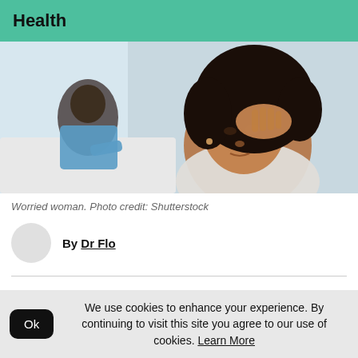Health
[Figure (photo): A worried Black woman in the foreground resting her hand on her forehead, with a man in a blue shirt sitting turned away in the background on a white couch.]
Worried woman. Photo credit: Shutterstock
By Dr Flo
We use cookies to enhance your experience. By continuing to visit this site you agree to our use of cookies. Learn More